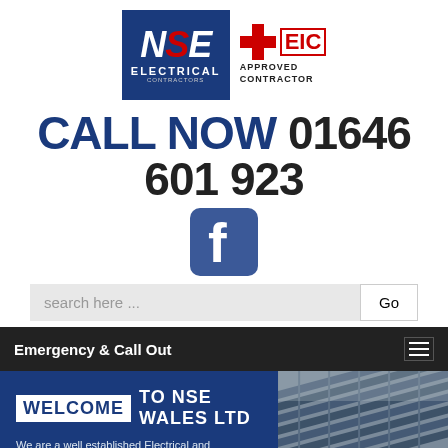[Figure (logo): NSE Electrical Contractors logo (blue box with white italic NSE letters, red S) and NICEIC Approved Contractor badge (red cross, EIC text, Approved Contractor text)]
CALL NOW 01646 601 923
[Figure (logo): Facebook logo icon (blue square with white f)]
search here ...
Emergency & Call Out
WELCOME TO NSE WALES LTD
We are a well established Electrical and Mechanical contractors based in the centre of Pembrokeshire
CONTACT US ON 01646 601 923